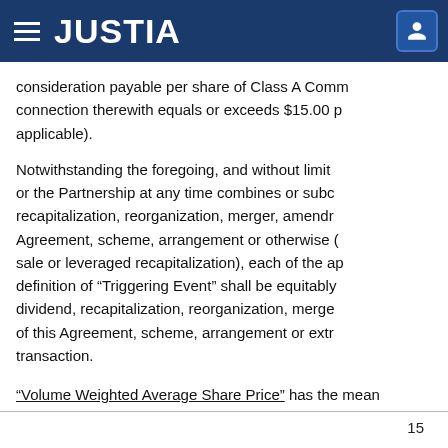JUSTIA
consideration payable per share of Class A Common Stock in connection therewith equals or exceeds $15.00 per share (as applicable).
Notwithstanding the foregoing, and without limitation, if the Company or the Partnership at any time combines or subdivides by recapitalization, reorganization, merger, amendment of this Agreement, scheme, arrangement or otherwise (including a sale or leveraged recapitalization), each of the applicable amounts in the definition of “Triggering Event” shall be equitably adjusted by any stock dividend, recapitalization, reorganization, merger or amendment of this Agreement, scheme, arrangement or extraordinary corporate transaction.
“Volume Weighted Average Share Price” has the mean
15